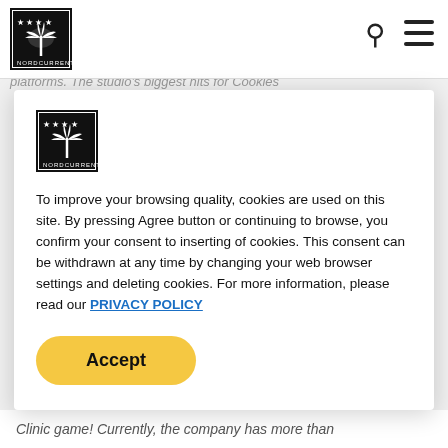Nordcurrent logo, search icon, hamburger menu
d more than 50 games for various
platforms. The studio's biggest hits for Cookies
[Figure (logo): Nordcurrent logo — palm tree with stars inside a square border, text NORDCURRENT below]
To improve your browsing quality, cookies are used on this site. By pressing Agree button or continuing to browse, you confirm your consent to inserting of cookies. This consent can be withdrawn at any time by changing your web browser settings and deleting cookies. For more information, please read our PRIVACY POLICY
Accept
Clinic game! Currently, the company has more than